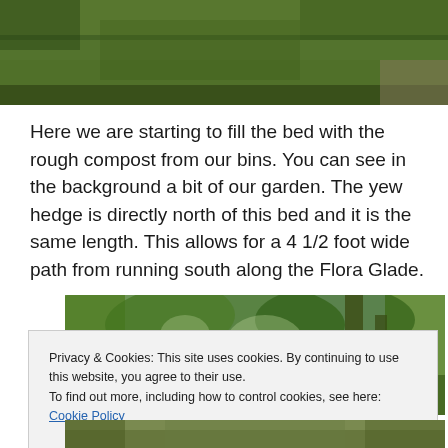[Figure (photo): Aerial view of grass lawn with garden bed edging visible, green grass filling the frame]
Here we are starting to fill the bed with the rough compost from our bins. You can see in the background a bit of our garden. The yew hedge is directly north of this bed and it is the same length. This allows for a 4 1/2 foot wide path from running south along the Flora Glade.
[Figure (photo): Garden photo showing tree canopy and green foliage from below, dappled light through trees]
Privacy & Cookies: This site uses cookies. By continuing to use this website, you agree to their use.
To find out more, including how to control cookies, see here: Cookie Policy
[Figure (photo): Garden path or bed photo partially visible at bottom of page]